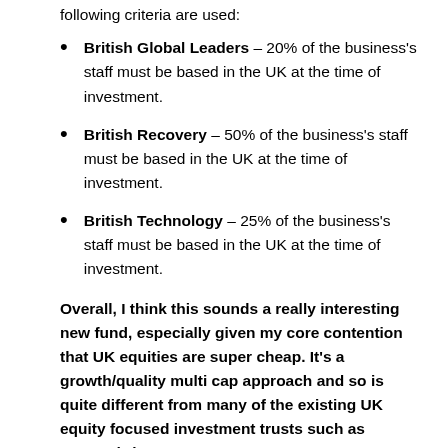following criteria are used:
British Global Leaders – 20% of the business's staff must be based in the UK at the time of investment.
British Recovery – 50% of the business's staff must be based in the UK at the time of investment.
British Technology – 25% of the business's staff must be based in the UK at the time of investment.
Overall, I think this sounds a really interesting new fund, especially given my core contention that UK equities are super cheap. It's a growth/quality multi cap approach and so is quite different from many of the existing UK equity focused investment trusts such as Aurora (where I am a